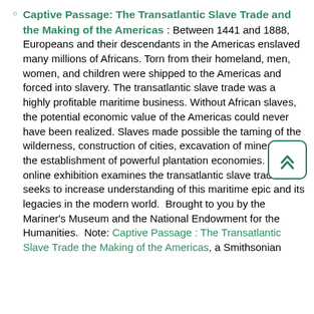Captive Passage: The Transatlantic Slave Trade and the Making of the Americas : Between 1441 and 1888, Europeans and their descendants in the Americas enslaved many millions of Africans. Torn from their homeland, men, women, and children were shipped to the Americas and forced into slavery. The transatlantic slave trade was a highly profitable maritime business. Without African slaves, the potential economic value of the Americas could never have been realized. Slaves made possible the taming of the wilderness, construction of cities, excavation of mines, and the establishment of powerful plantation economies. This online exhibition examines the transatlantic slave trade and seeks to increase understanding of this maritime epic and its legacies in the modern world.  Brought to you by the Mariner's Museum and the National Endowment for the Humanities.  Note: Captive Passage : The Transatlantic Slave Trade the Making of the Americas, a Smithsonian